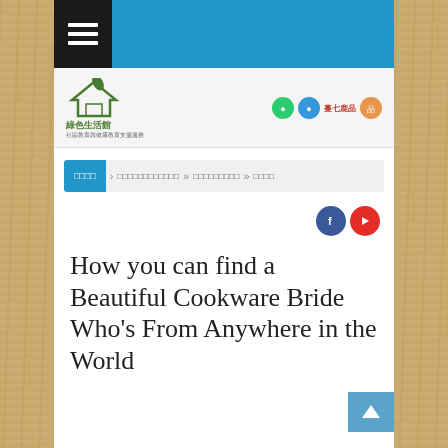[Figure (screenshot): Website screenshot of 綠色生活館 (Green Living) with blue header, hamburger menu, logo, breadcrumb navigation, social media buttons, and article title]
≡
[Figure (logo): 綠色生活館 logo with house icon and Chinese text]
□□□□ » □□□□□□□□□□□□ » □□□□□□□□□ » □□□□
How you can find a Beautiful Cookware Bride Who's From Anywhere in the World